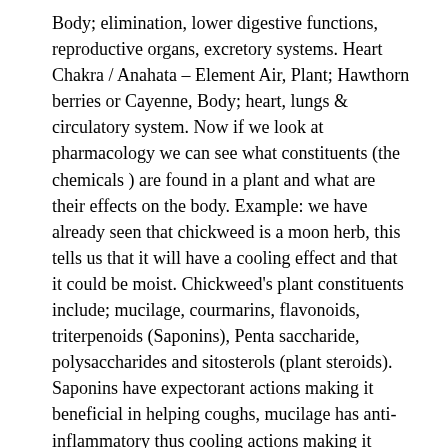Body; elimination, lower digestive functions, reproductive organs, excretory systems. Heart Chakra / Anahata – Element Air, Plant; Hawthorn berries or Cayenne, Body; heart, lungs & circulatory system. Now if we look at pharmacology we can see what constituents (the chemicals ) are found in a plant and what are their effects on the body. Example: we have already seen that chickweed is a moon herb, this tells us that it will have a cooling effect and that it could be moist. Chickweed's plant constituents include; mucilage, courmarins, flavonoids, triterpenoids (Saponins), Penta saccharide, polysaccharides and sitosterols (plant steroids). Saponins have expectorant actions making it beneficial in helping coughs, mucilage has anti-inflammatory thus cooling actions making it beneficial in treating hot, irritated skin conditions. This corresponds to what our ancestors documented about the healing properties of this plant by its associations with astrology and temperament. If we take the other example of cinnamon we see that pharmacology it contains: essential oil cinnamaldehyde, courmarins, condensed tannins. The essential oil shows antiviral activity,